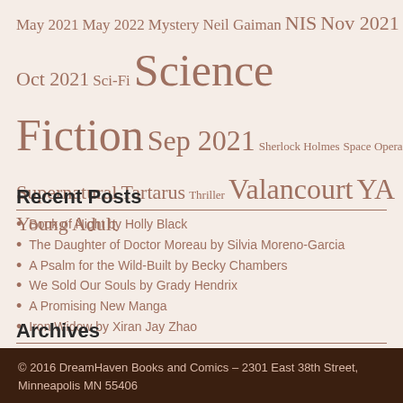May 2021 May 2022 Mystery Neil Gaiman NIS Nov 2021 Oct 2021 Sci-Fi Science Fiction Sep 2021 Sherlock Holmes Space Opera Supernatural Tartarus Thriller Valancourt YA Young Adult
Recent Posts
Book of Night by Holly Black
The Daughter of Doctor Moreau by Silvia Moreno-Garcia
A Psalm for the Wild-Built by Becky Chambers
We Sold Our Souls by Grady Hendrix
A Promising New Manga
Iron Widow by Xiran Jay Zhao
Archives
Select Month
© 2016 DreamHaven Books and Comics  –  2301 East 38th Street, Minneapolis MN 55406